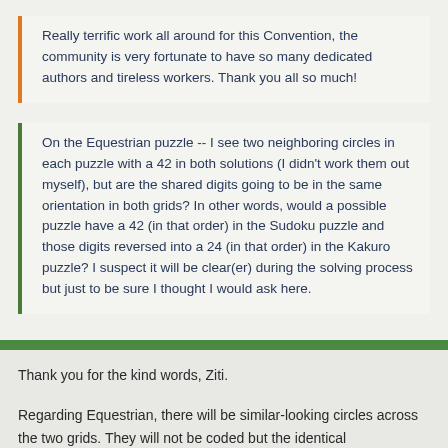Really terrific work all around for this Convention, the community is very fortunate to have so many dedicated authors and tireless workers. Thank you all so much!
On the Equestrian puzzle -- I see two neighboring circles in each puzzle with a 42 in both solutions (I didn't work them out myself), but are the shared digits going to be in the same orientation in both grids? In other words, would a possible puzzle have a 42 (in that order) in the Sudoku puzzle and those digits reversed into a 24 (in that order) in the Kakuro puzzle? I suspect it will be clear(er) during the solving process but just to be sure I thought I would ask here.
Thank you for the kind words, Ziti.
Regarding Equestrian, there will be similar-looking circles across the two grids. They will not be coded but the identical